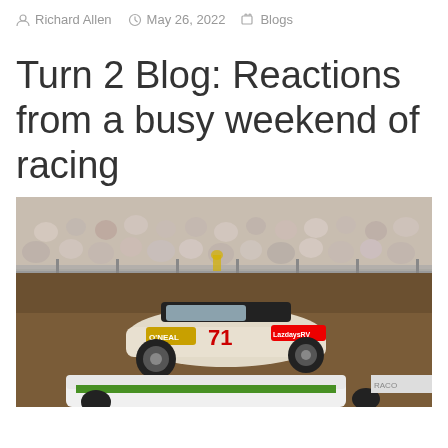Richard Allen  May 26, 2022  Blogs
Turn 2 Blog: Reactions from a busy weekend of racing
[Figure (photo): Dirt late model race cars on a dirt track with grandstands full of spectators in the background. The prominent car is white with number 71, featuring O'Neal and Lazydays RV sponsorship logos. A white car with green lettering is partially visible below.]